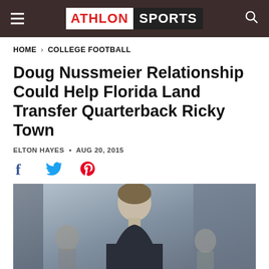ATHLON SPORTS
HOME > COLLEGE FOOTBALL
Doug Nussmeier Relationship Could Help Florida Land Transfer Quarterback Ricky Town
ELTON HAYES • AUG 20, 2015
[Figure (other): Social share icons: Facebook, Twitter, Pinterest]
[Figure (photo): Photo of a young man (Ricky Town) standing outdoors, wearing dark clothing, with other people blurred in background]